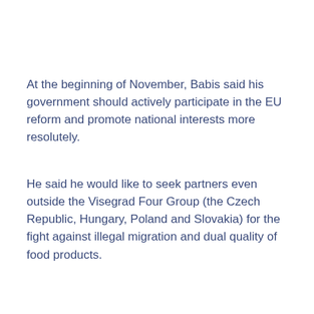At the beginning of November, Babis said his government should actively participate in the EU reform and promote national interests more resolutely.
He said he would like to seek partners even outside the Visegrad Four Group (the Czech Republic, Hungary, Poland and Slovakia) for the fight against illegal migration and dual quality of food products.